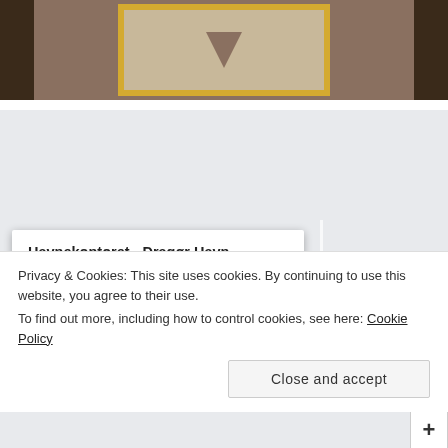[Figure (photo): Top portion of a webpage showing a framed picture on a dark brick wall background]
[Figure (map): Google Maps embed showing Havnekontoret - Dragør Havn with an info card overlay showing address Gamle Havn 2, 2791 Dragør, rating 4.4 stars, and a View larger map link]
Havnekontoret - Dragør Havn
Gamle Havn 2, 2791 Dragør
4.4 ★★★★½
View larger map
Privacy & Cookies: This site uses cookies. By continuing to use this website, you agree to their use.
To find out more, including how to control cookies, see here: Cookie Policy
Close and accept